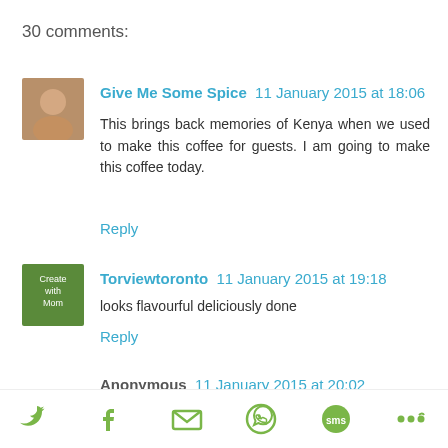30 comments:
Give Me Some Spice  11 January 2015 at 18:06
This brings back memories of Kenya when we used to make this coffee for guests. I am going to make this coffee today.
Reply
Torviewtoronto  11 January 2015 at 19:18
looks flavourful deliciously done
Reply
Anonymous  11 January 2015 at 20:02